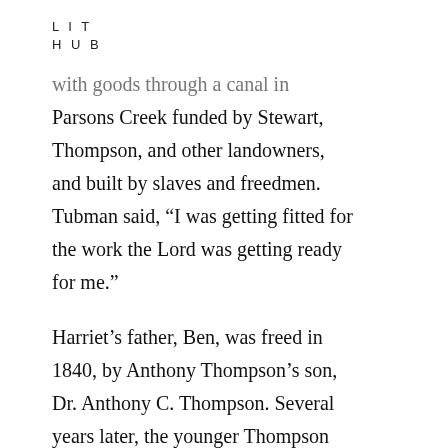LIT
HUB
with goods through a canal in Parsons Creek funded by Stewart, Thompson, and other landowners, and built by slaves and freedmen. Tubman said, “I was getting fitted for the work the Lord was getting ready for me.”
Harriet’s father, Ben, was freed in 1840, by Anthony Thompson’s son, Dr. Anthony C. Thompson. Several years later, the younger Thompson began to acquire a 2,000-acre timber plantation at Poplar Neck, in